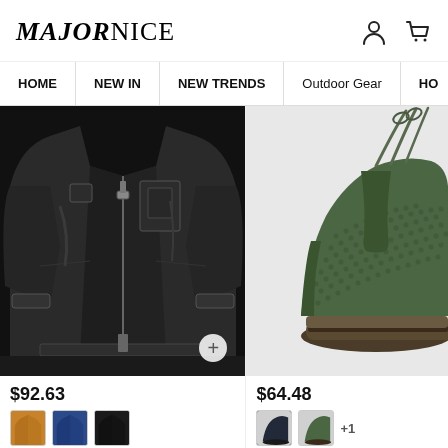MAJORNICE — navigation header with user and cart icons
HOME | NEW IN | NEW TRENDS | Outdoor Gear | HO...
[Figure (photo): Black leather motorcycle jacket open front with zipper pockets, shown on a dark background with a small plus (+) button overlay]
$92.63
[Figure (photo): Green/olive mesh athletic sneaker with laces, shown on light background]
$64.48